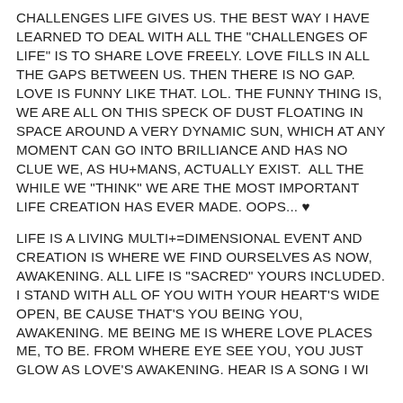CHALLENGES LIFE GIVES US. THE BEST WAY I HAVE LEARNED TO DEAL WITH ALL THE "CHALLENGES OF LIFE" IS TO SHARE LOVE FREELY. LOVE FILLS IN ALL THE GAPS BETWEEN US. THEN THERE IS NO GAP. LOVE IS FUNNY LIKE THAT. LOL. THE FUNNY THING IS, WE ARE ALL ON THIS SPECK OF DUST FLOATING IN SPACE AROUND A VERY DYNAMIC SUN, WHICH AT ANY MOMENT CAN GO INTO BRILLIANCE AND HAS NO CLUE WE, AS HU+MANS, ACTUALLY EXIST.  ALL THE WHILE WE "THINK" WE ARE THE MOST IMPORTANT LIFE CREATION HAS EVER MADE. OOPS... ♥
LIFE IS A LIVING MULTI+=DIMENSIONAL EVENT AND CREATION IS WHERE WE FIND OURSELVES AS NOW, AWAKENING. ALL LIFE IS "SACRED" YOURS INCLUDED. I STAND WITH ALL OF YOU WITH YOUR HEART'S WIDE OPEN, BE CAUSE THAT'S YOU BEING YOU, AWAKENING. ME BEING ME IS WHERE LOVE PLACES ME, TO BE. FROM WHERE EYE SEE YOU, YOU JUST GLOW AS LOVE'S AWAKENING. HEAR IS A SONG I WI...